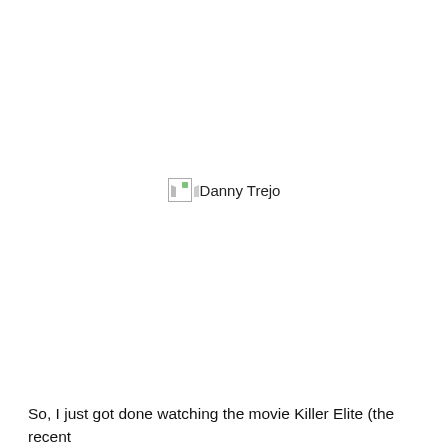[Figure (photo): Broken image placeholder with alt text 'Danny Trejo']
So, I just got done watching the movie Killer Elite (the recent